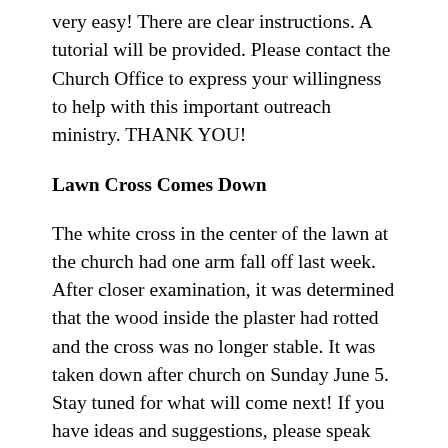very easy! There are clear instructions. A tutorial will be provided. Please contact the Church Office to express your willingness to help with this important outreach ministry. THANK YOU!
Lawn Cross Comes Down
The white cross in the center of the lawn at the church had one arm fall off last week. After closer examination, it was determined that the wood inside the plaster had rotted and the cross was no longer stable. It was taken down after church on Sunday June 5. Stay tuned for what will come next! If you have ideas and suggestions, please speak with an advisor.